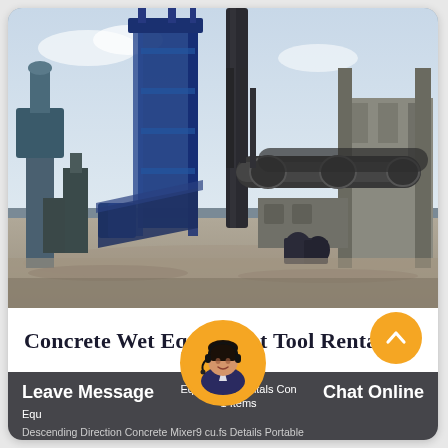[Figure (photo): Industrial facility photo showing large blue heavy equipment machinery, conveyor belts, cylindrical rotary drums, concrete columns and structures, under a partly cloudy sky. Industrial/construction plant setting.]
Concrete Wet Equipment Tool Rentals
Leave Message
Equipment Rentals Concrete 1 Items Chat Online Descending Direction Concrete Mixer9 cu.fs Details Portable
Chat Online